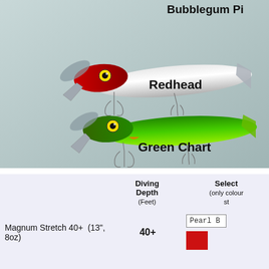[Figure (photo): Product photo showing two fishing lures on a grey background. Top lure is a Redhead style (red head, silver body). Bottom lure is a Green Chart style (bright green/chartreuse). Labels 'Bubblegum Pi', 'Redhead', and 'Green Chart' appear as text overlays.]
|  | Diving Depth (Feet) | Select (only colours in stock) |
| --- | --- | --- |
| Magnum Stretch 40+  (13", 8oz) | 40+ | Pearl B |